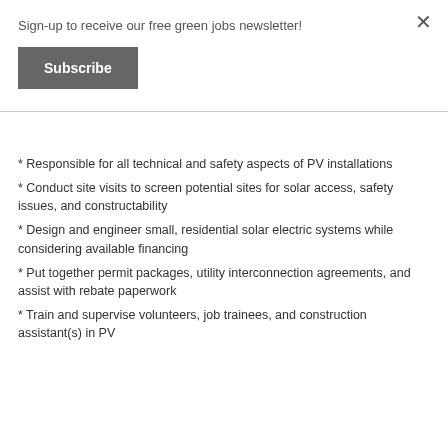Sign-up to receive our free green jobs newsletter!
Subscribe
×
* Responsible for all technical and safety aspects of PV installations
* Conduct site visits to screen potential sites for solar access, safety issues, and constructability
* Design and engineer small, residential solar electric systems while considering available financing
* Put together permit packages, utility interconnection agreements, and assist with rebate paperwork
* Train and supervise volunteers, job trainees, and construction assistant(s) in PV